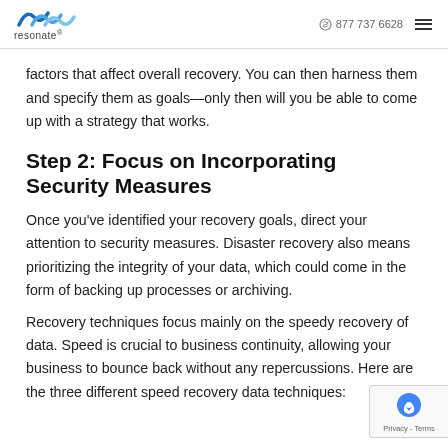resonate  877 737 6628
factors that affect overall recovery. You can then harness them and specify them as goals—only then will you be able to come up with a strategy that works.
Step 2: Focus on Incorporating Security Measures
Once you've identified your recovery goals, direct your attention to security measures. Disaster recovery also means prioritizing the integrity of your data, which could come in the form of backing up processes or archiving.
Recovery techniques focus mainly on the speedy recovery of data. Speed is crucial to business continuity, allowing your business to bounce back without any repercussions. Here are the three different speed recovery data techniques: